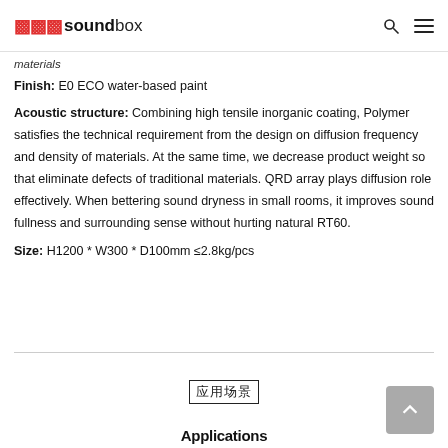soundbox
materials
Finish: E0 ECO water-based paint
Acoustic structure: Combining high tensile inorganic coating, Polymer satisfies the technical requirement from the design on diffusion frequency and density of materials. At the same time, we decrease product weight so that eliminate defects of traditional materials. QRD array plays diffusion role effectively. When bettering sound dryness in small rooms, it improves sound fullness and surrounding sense without hurting natural RT60.
Size: H1200 * W300 * D100mm ≤2.8kg/pcs
应用场景
Applications